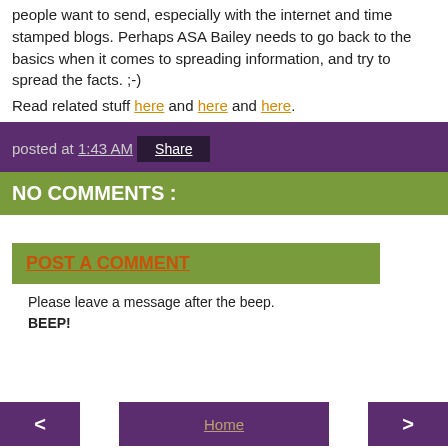people want to send, especially with the internet and time stamped blogs. Perhaps ASA Bailey needs to go back to the basics when it comes to spreading information, and try to spread the facts. ;-)
Read related stuff here and here and here.
posted at 1:43 AM
Share
NO COMMENTS :
POST A COMMENT
Please leave a message after the beep.
BEEP!
< Home >